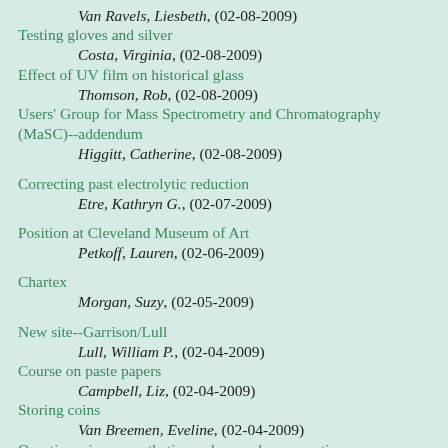Van Ravels, Liesbeth, (02-08-2009)
Testing gloves and silver
        Costa, Virginia, (02-08-2009)
Effect of UV film on historical glass
        Thomson, Rob, (02-08-2009)
Users' Group for Mass Spectrometry and Chromatography (MaSC)--addendum
        Higgitt, Catherine, (02-08-2009)
Correcting past electrolytic reduction
        Etre, Kathryn G., (02-07-2009)
Position at Cleveland Museum of Art
        Petkoff, Lauren, (02-06-2009)
Chartex
        Morgan, Suzy, (02-05-2009)
New site--Garrison/Lull
        Lull, William P., (02-04-2009)
Course on paste papers
        Campbell, Liz, (02-04-2009)
Storing coins
        Van Breemen, Eveline, (02-04-2009)
Questionnaire on aesthetics, values and conservation